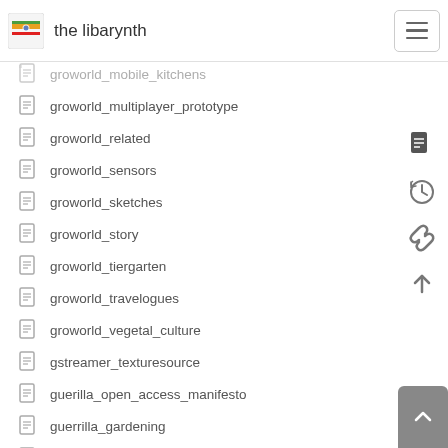the libarynth
groworld_mobile_kitchens
groworld_multiplayer_prototype
groworld_related
groworld_sensors
groworld_sketches
groworld_story
groworld_tiergarten
groworld_travelogues
groworld_vegetal_culture
gstreamer_texturesource
guerilla_open_access_manifesto
guerrilla_gardening
guerrilla_grafting
guest_login
gullibloon
gumstix
gun_powder
gurukula
gurukula_botanical_sanctuary